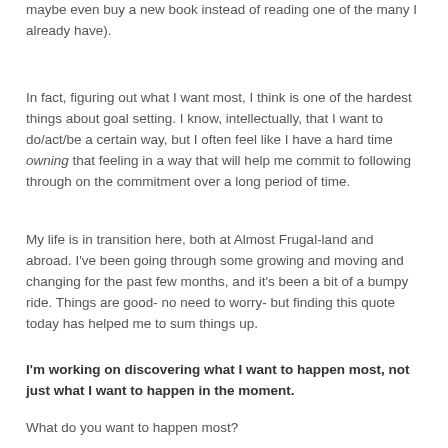maybe even buy a new book instead of reading one of the many I already have).
In fact, figuring out what I want most, I think is one of the hardest things about goal setting. I know, intellectually, that I want to do/act/be a certain way, but I often feel like I have a hard time owning that feeling in a way that will help me commit to following through on the commitment over a long period of time.
My life is in transition here, both at Almost Frugal-land and abroad. I've been going through some growing and moving and changing for the past few months, and it's been a bit of a bumpy ride. Things are good- no need to worry- but finding this quote today has helped me to sum things up.
I'm working on discovering what I want to happen most, not just what I want to happen in the moment.
What do you want to happen most?